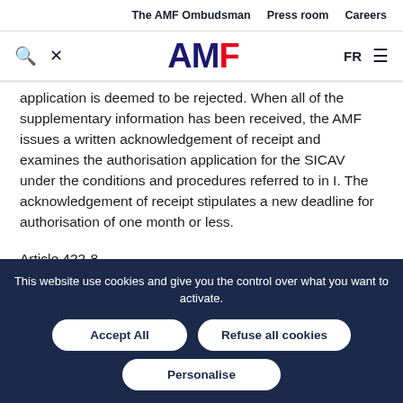The AMF Ombudsman | Press room | Careers
[Figure (logo): AMF logo with search and settings icons, FR language switch, and hamburger menu]
application is deemed to be rejected. When all of the supplementary information has been received, the AMF issues a written acknowledgement of receipt and examines the authorisation application for the SICAV under the conditions and procedures referred to in I. The acknowledgement of receipt stipulates a new deadline for authorisation of one month or less.
Article 422-8
This website use cookies and give you the control over what you want to activate.